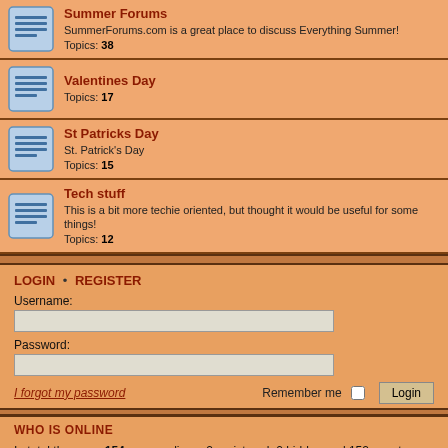Summer Forums — SummerForums.com is a great place to discuss Everything Summer! Topics: 38
Valentines Day — Topics: 17
St Patricks Day — St. Patrick's Day — Topics: 15
Tech stuff — This is a bit more techie oriented, but thought it would be useful for some things! Topics: 12
LOGIN • REGISTER
Username:
Password:
I forgot my password
Remember me
WHO IS ONLINE
In total there are 154 users online :: 2 registered, 0 hidden and 152 guests (based on users active over the past 29 minutes)
Most users ever online was 929 on Sat May 30, 2020 7:58 am